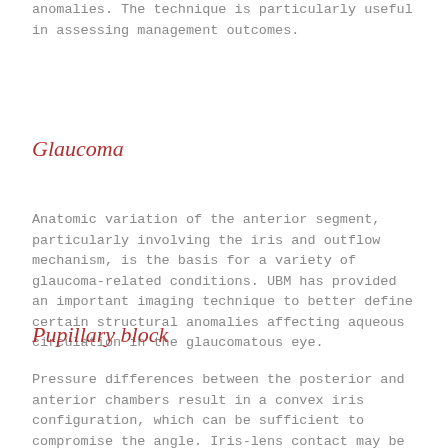anomalies. The technique is particularly useful in assessing management outcomes.
Glaucoma
Anatomic variation of the anterior segment, particularly involving the iris and outflow mechanism, is the basis for a variety of glaucoma-related conditions. UBM has provided an important imaging technique to better define certain structural anomalies affecting aqueous circulation in the glaucomatous eye.
Pupillary block
Pressure differences between the posterior and anterior chambers result in a convex iris configuration, which can be sufficient to compromise the angle. Iris-lens contact may be minimal in